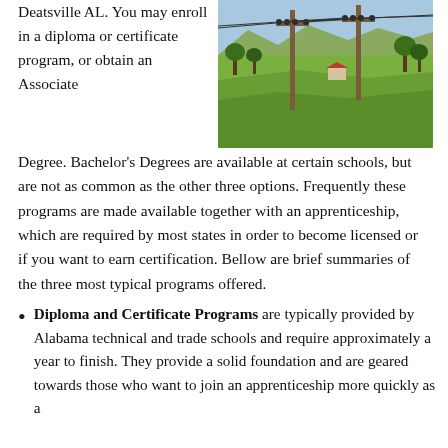Deatsville AL. You may enroll in a diploma or certificate program, or obtain an Associate
[Figure (photo): Photograph of electrical utility poles with power lines in a rural green landscape with fields, trees, and a small building in the background.]
Degree. Bachelor's Degrees are available at certain schools, but are not as common as the other three options. Frequently these programs are made available together with an apprenticeship, which are required by most states in order to become licensed or if you want to earn certification. Bellow are brief summaries of the three most typical programs offered.
Diploma and Certificate Programs are typically provided by Alabama technical and trade schools and require approximately a year to finish. They provide a solid foundation and are geared towards those who want to join an apprenticeship more quickly as a